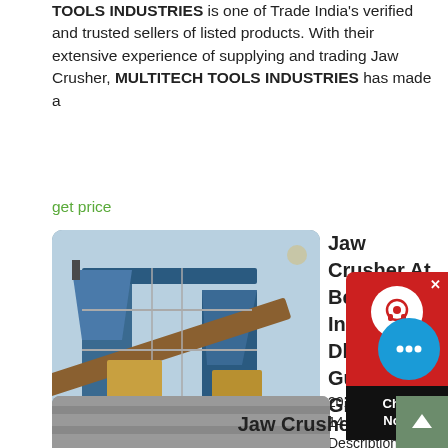TOOLS INDUSTRIES is one of Trade India's verified and trusted sellers of listed products. With their extensive experience of supplying and trading Jaw Crusher, MULTITECH TOOLS INDUSTRIES has made a
get price
[Figure (photo): Photo of a large industrial jaw crusher machine, blue and yellow/brown colored heavy machinery with scaffolding, against a light blue sky background.]
Jaw Crusher At Best Price In Dhansura, Gujarat Girnar
2016-6-14   Product Description. We are the loyalist in manufacturing exporting, distributing and supplying an extensive assortment of Jaw Crusher in Dhansura, Gujarat, India. The Jaw plates are made from manganese steel casting, grade -III having 14% manganese. The side plates are of closed fitting type which prevent any wear to the body. Pitman.
get price